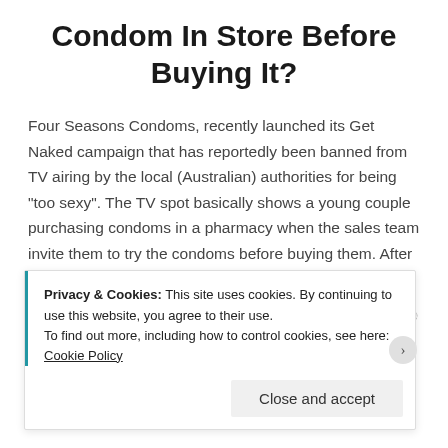Condom In Store Before Buying It?
Four Seasons Condoms, recently launched its Get Naked campaign that has reportedly been banned from TV airing by the local (Australian) authorities for being “too sexy”. The TV spot basically shows a young couple purchasing condoms in a pharmacy when the sales team invite them to try the condoms before buying them. After an in-store […]
0
Privacy & Cookies: This site uses cookies. By continuing to use this website, you agree to their use.
To find out more, including how to control cookies, see here: Cookie Policy
Close and accept